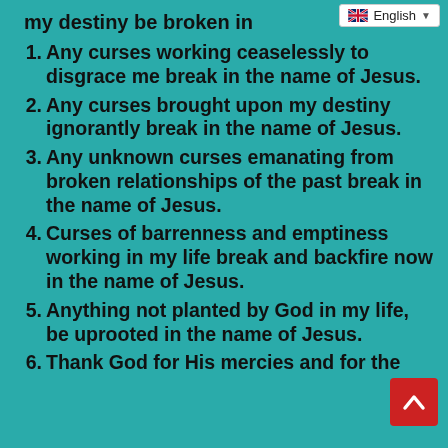[Figure (screenshot): Language selector dropdown showing English with UK flag]
my destiny be broken in [the name of Jesus, let]
1. Any curses working ceaselessly to disgrace me break in the name of Jesus.
2. Any curses brought upon my destiny ignorantly break in the name of Jesus.
3. Any unknown curses emanating from broken relationships of the past break in the name of Jesus.
4. Curses of barrenness and emptiness working in my life break and backfire now in the name of Jesus.
5. Anything not planted by God in my life, be uprooted in the name of Jesus.
6. Thank God for His mercies and for the [answers to your prayers.]
[Figure (other): Back to top button (red square with white upward chevron arrow)]